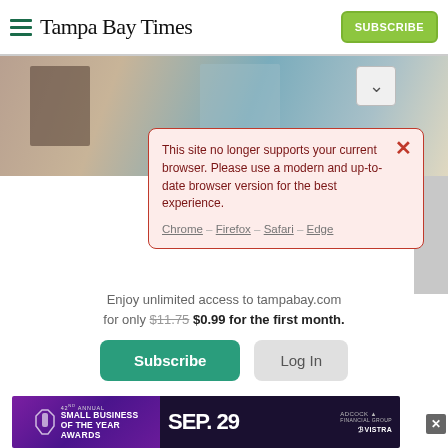Tampa Bay Times
[Figure (screenshot): Photo of office/newsroom scene with blurred people in background]
This site no longer supports your current browser. Please use a modern and up-to-date browser version for the best experience. Chrome – Firefox – Safari – Edge
Enjoy unlimited access to tampabay.com for only $11.75 $0.99 for the first month.
Subscribe
Log In
Interested in print delivery? Subscribe here →
[Figure (photo): 42nd Annual Small Business of the Year Awards advertisement banner. SEP. 29. Adcock Financial Group and Vistra logos.]